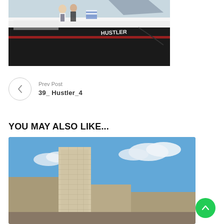[Figure (photo): Two people standing on a sleek black and white Hustler speedboat docked at a marina. The boat has distinctive black stripes and the word HUSTLER visible on the hull.]
Prev Post
39_ Hustler_4
YOU MAY ALSO LIKE...
[Figure (photo): Cityscape with tall modern high-rise buildings against a blue sky with clouds, appears to be a coastal city.]